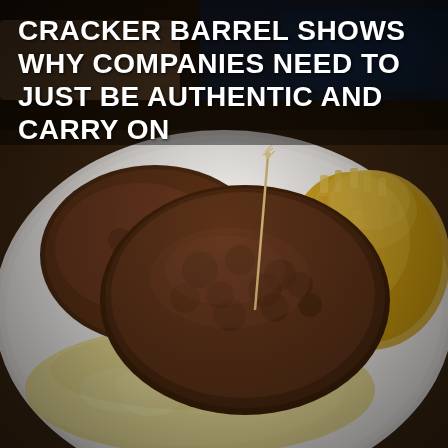[Figure (photo): A plate of Cracker Barrel breakfast food showing two round sausage patties with a toothpick inserted, scrambled eggs in the foreground, and hashbrown casserole in the background right. The plate is white and the background shows a restaurant table setting.]
CRACKER BARREL SHOWS WHY COMPANIES NEED TO JUST BE AUTHENTIC AND CARRY ON